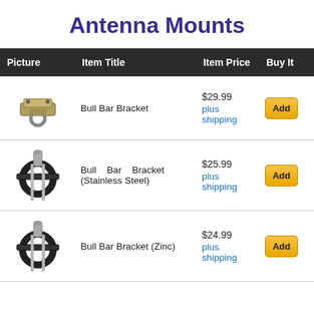Antenna Mounts
| Picture | Item Title | Item Price | Buy It |
| --- | --- | --- | --- |
| [image] | Bull Bar Bracket | $29.99 plus shipping | Add |
| [image] | Bull Bar Bracket (Stainless Steel) | $25.99 plus shipping | Add |
| [image] | Bull Bar Bracket (Zinc) | $24.99 plus shipping | Add |